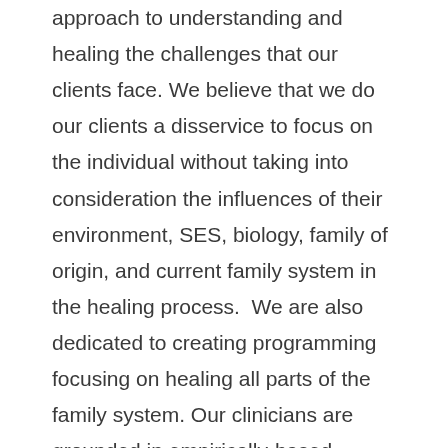approach to understanding and healing the challenges that our clients face. We believe that we do our clients a disservice to focus on the individual without taking into consideration the influences of their environment, SES, biology, family of origin, and current family system in the healing process.  We are also dedicated to creating programming focusing on healing all parts of the family system. Our clinicians are grounded in empirically-based treatment models that provide the most effective and efficient road to healing including:
Emotionally Focused Couple Therapy and...